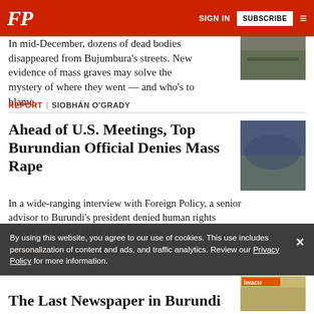FP | SIGN IN | SUBSCRIBE
In mid-December, dozens of dead bodies disappeared from Bujumbura's streets. New evidence of mass graves may solve the mystery of where they went — and who's to blame.
REPORT | SIOBHÁN O'GRADY
Ahead of U.S. Meetings, Top Burundian Official Denies Mass Rape
In a wide-ranging interview with Foreign Policy, a senior advisor to Burundi's president denied human rights abuses are taking place in his country.
PASSPORT | SIOBHÁN O'GRADY
By using this website, you agree to our use of cookies. This use includes personalization of content and ads, and traffic analytics. Review our Privacy Policy for more information.
The Last Newspaper in Burundi